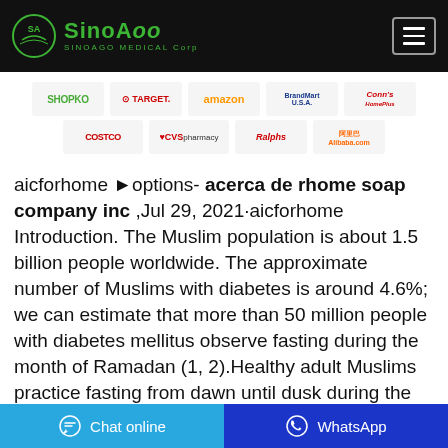[Figure (logo): SinoAgo Medical Corp logo on black header bar with navigation menu icon]
[Figure (infographic): Partner/retailer logos: Shopko, Target, Amazon, BrandMart USA, Conn's HomePlus, Costco, CVS pharmacy, Ralphs, Alibaba.com]
aicforhome ►ptions- acerca de rhome soap company inc ,Jul 29, 2021·aicforhome Introduction. The Muslim population is about 1.5 billion people worldwide. The approximate number of Muslims with diabetes is around 4.6%; we can estimate that more than 50 million people with diabetes mellitus observe fasting during the month of Ramadan (1, 2).Healthy adult Muslims practice fasting from dawn until dusk during the month …
[Figure (infographic): Bottom bar with Chat online (blue) and WhatsApp (dark blue) buttons]